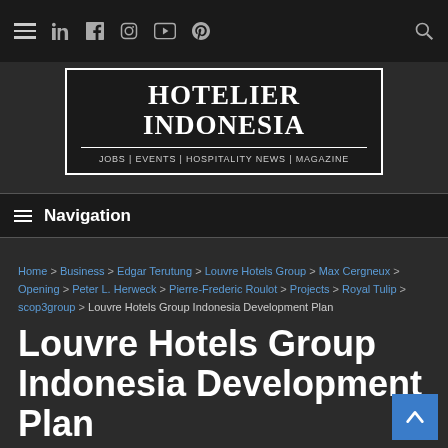≡ in f [instagram] [youtube] [pinterest] [search]
[Figure (logo): Hotelier Indonesia logo with text: HOTELIER INDONESIA / JOBS | EVENTS | HOSPITALITY NEWS | MAGAZINE]
≡ Navigation
Home > Business > Edgar Terutung > Louvre Hotels Group > Max Cergneux > Opening > Peter L. Herweck > Pierre-Frederic Roulot > Projects > Royal Tulip > scop3group > Louvre Hotels Group Indonesia Development Plan
Louvre Hotels Group Indonesia Development Plan